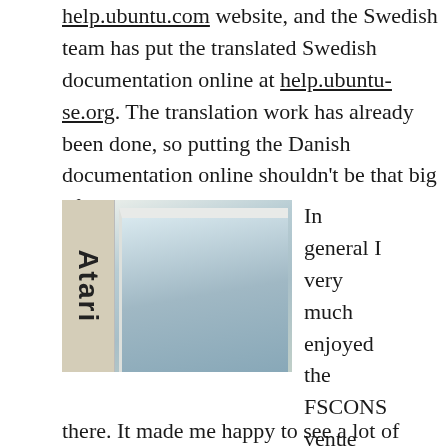help.ubuntu.com website, and the Swedish team has put the translated Swedish documentation online at help.ubuntu-se.org. The translation work has already been done, so putting the Danish documentation online shouldn't be that big of a problem.
[Figure (photo): Photo of an Atari book/box spine on the left side and a light blue framed surface or screen on the right, showing handwritten text.]
In general I very much enjoyed the FSCONS venue and the people there. It made me happy to see a lot of Ubuntu